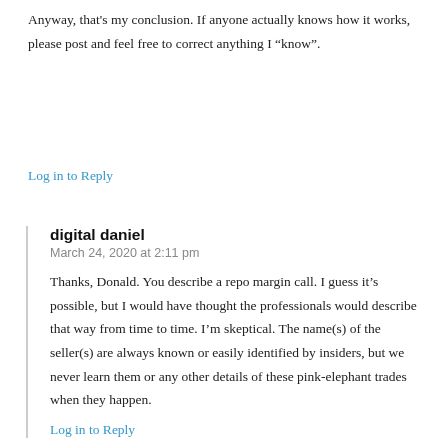Anyway, that's my conclusion. If anyone actually knows how it works, please post and feel free to correct anything I “know”.
Log in to Reply
digital daniel
March 24, 2020 at 2:11 pm
Thanks, Donald. You describe a repo margin call. I guess it’s possible, but I would have thought the professionals would describe that way from time to time. I’m skeptical. The name(s) of the seller(s) are always known or easily identified by insiders, but we never learn them or any other details of these pink-elephant trades when they happen.
Log in to Reply